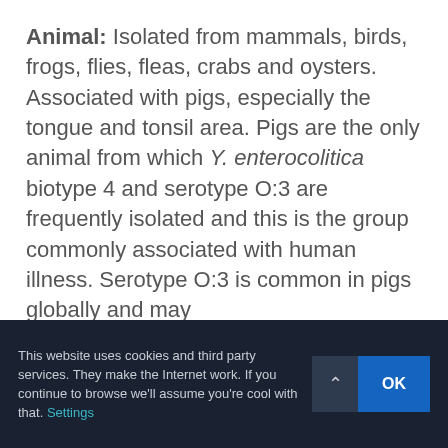Animal: Isolated from mammals, birds, frogs, flies, fleas, crabs and oysters. Associated with pigs, especially the tongue and tonsil area. Pigs are the only animal from which Y. enterocolitica biotype 4 and serotype O:3 are frequently isolated and this is the group commonly associated with human illness. Serotype O:3 is common in pigs globally and may
This website uses cookies and third party services. They make the Internet work. If you continue to browse we'll assume you're cool with that. Settings